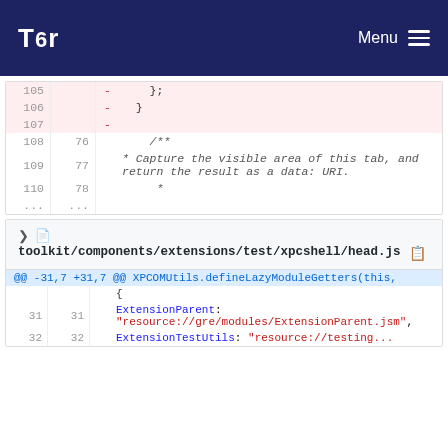Tor — Menu
[Figure (screenshot): Code diff view showing deleted lines 105-107 and context lines 108-110 with comment block '/** * Capture the visible area of this tab, and return the result as a data: URI.' and line 110/78 showing '*']
toolkit/components/extensions/test/xpcshell/head.js
[Figure (screenshot): Code diff showing hunk @@ -31,7 +31,7 @@ XPCOMUtils.defineLazyModuleGetters(this, { with lines 31/31 ExtensionParent: 'resource://gre/modules/ExtensionParent.jsm', and 32/32 ExtensionTestUtils: 'resource://testing...]